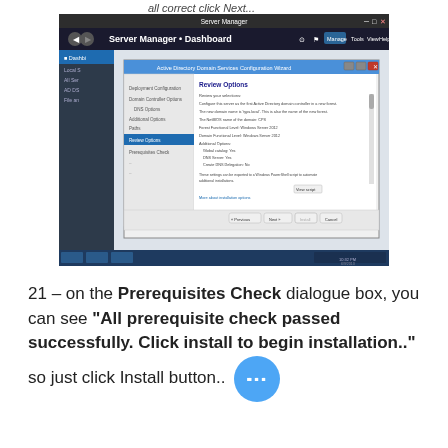all correct click Next...
[Figure (screenshot): Windows Server Manager with Active Directory Domain Services Configuration Wizard showing Review Options dialog. The wizard sidebar shows steps: Deployment Configuration, Domain Controller Options, DNS Options, Additional Options, Paths, Review Options (selected/highlighted in blue), Prerequisites Check, and Install. The main panel shows Review your selections including: Configure this server as the first Active Directory domain controller in a new forest, The new domain name is 'typs.local'. This is also the name of the new forest, The NetBIOS name of the domain: CPS, Forest Functional Level: Windows Server 2012, Domain Functional Level: Windows Server 2012, Additional Options: Global catalog: Yes, DNS Server: Yes, Create DNS Delegation: No. At the bottom: These settings can be exported to a Windows PowerShell script to automate additional installations. Navigation buttons: < Previous, Next >, Install, Cancel. The taskbar shows 10:32 PM 6/9/2013.]
21 – on the Prerequisites Check dialogue box, you can see "All prerequisite check passed successfully. Click install to begin installation.." so just click Install button..